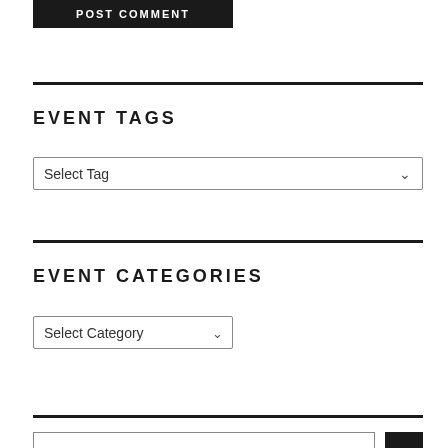POST COMMENT
EVENT TAGS
Select Tag
EVENT CATEGORIES
Select Category